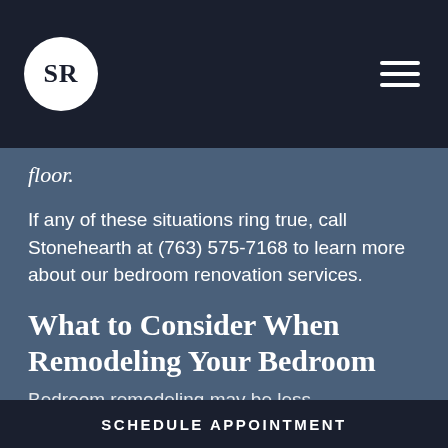[Figure (logo): SR logo in a white circle on dark navy background, with hamburger menu icon on the right]
floor.
If any of these situations ring true, call Stonehearth at (763) 575-7168 to learn more about our bedroom renovation services.
What to Consider When Remodeling Your Bedroom
Bedroom remodeling may be less
SCHEDULE APPOINTMENT